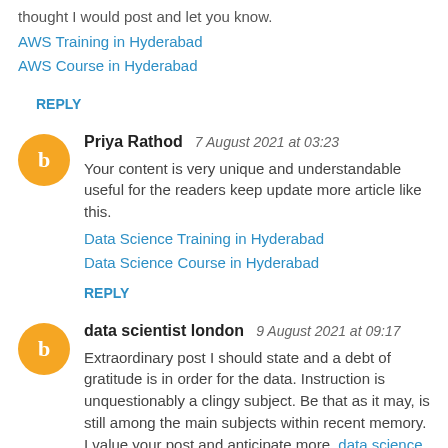thought I would post and let you know.
AWS Training in Hyderabad
AWS Course in Hyderabad
REPLY
Priya Rathod  7 August 2021 at 03:23
Your content is very unique and understandable useful for the readers keep update more article like this.
Data Science Training in Hyderabad
Data Science Course in Hyderabad
REPLY
data scientist london  9 August 2021 at 09:17
Extraordinary post I should state and a debt of gratitude is in order for the data. Instruction is unquestionably a clingy subject. Be that as it may, is still among the main subjects within recent memory. I value your post and anticipate more. data science course in london
REPLY